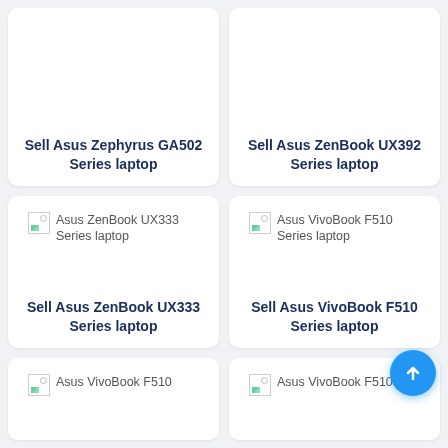[Figure (screenshot): Product card with blank white image area for Asus Zephyrus GA502 Series laptop]
Sell Asus Zephyrus GA502 Series laptop
[Figure (screenshot): Product card with blank white image area for Asus ZenBook UX392 Series laptop]
Sell Asus ZenBook UX392 Series laptop
[Figure (screenshot): Broken image placeholder: Asus ZenBook UX333 Series laptop]
Sell Asus ZenBook UX333 Series laptop
[Figure (screenshot): Broken image placeholder: Asus VivoBook F510 Series laptop]
Sell Asus VivoBook F510 Series laptop
[Figure (screenshot): Partial card bottom — broken image: Asus VivoBook F510 Series laptop]
[Figure (screenshot): Partial card bottom — broken image: Asus VivoBook F510 Series laptop]